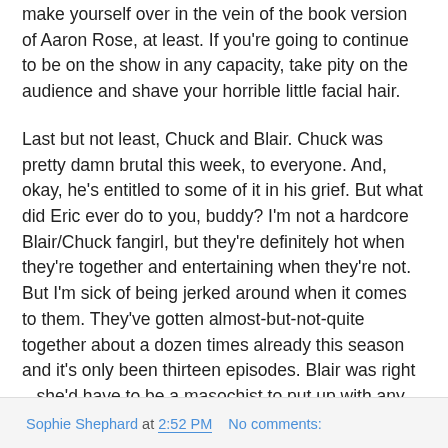Blair's stepbrother. So dash to A&E, Aaron, please. Or make yourself over in the vein of the book version of Aaron Rose, at least. If you're going to continue to be on the show in any capacity, take pity on the audience and shave your horrible little facial hair.
Last but not least, Chuck and Blair. Chuck was pretty damn brutal this week, to everyone. And, okay, he's entitled to some of it in his grief. But what did Eric ever do to you, buddy? I'm not a hardcore Blair/Chuck fangirl, but they're definitely hot when they're together and entertaining when they're not. But I'm sick of being jerked around when it comes to them. They've gotten almost-but-not-quite together about a dozen times already this season and it's only been thirteen episodes. Blair was right – she'd have to be a masochist to put up with any more of this. Man up, Chuck. Do your little suicidal rooftop dance in the next episode, have a nice breakdown, then grow up and get with Blair for real.
Sophie Shephard at 2:52 PM    No comments: